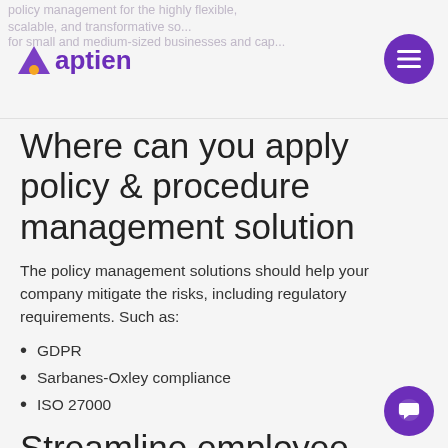policy management for the highly flexible, scalable, and transformative solutions for small and medium-sized businesses and corporations.
[Figure (logo): Aptien logo with purple triangle icon and orange dot, purple text 'aptien']
Where can you apply policy & procedure management solution
The policy management solutions should help your company mitigate the risks, including regulatory requirements. Such as:
GDPR
Sarbanes-Oxley compliance
ISO 27000
Streamline employee compliance